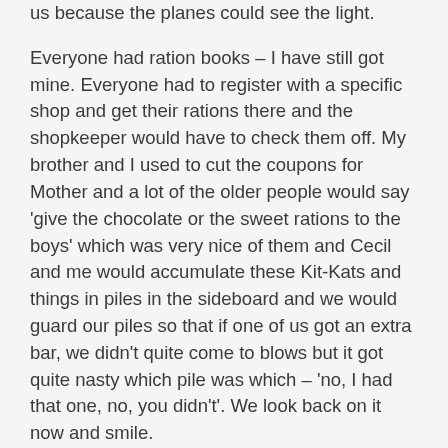us because the planes could see the light.
Everyone had ration books – I have still got mine. Everyone had to register with a specific shop and get their rations there and the shopkeeper would have to check them off. My brother and I used to cut the coupons for Mother and a lot of the older people would say 'give the chocolate or the sweet rations to the boys' which was very nice of them and Cecil and me would accumulate these Kit-Kats and things in piles in the sideboard and we would guard our piles so that if one of us got an extra bar, we didn't quite come to blows but it got quite nasty which pile was which – 'no, I had that one, no, you didn't'. We look back on it now and smile.
Father was in the Home Guard. They used to meet